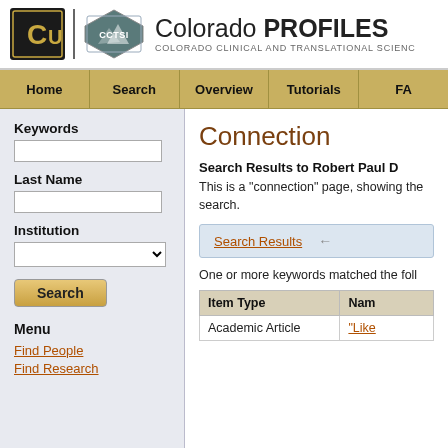Colorado PROFILES | COLORADO CLINICAL AND TRANSLATIONAL SCIENCE
[Figure (logo): University of Colorado CU logo and CCTSI logo with Colorado PROFILES header]
Home | Search | Overview | Tutorials | FA
Keywords
Last Name
Institution
Search
Menu
Find People
Find Research
Connection
Search Results to Robert Paul D
This is a "connection" page, showing the search.
Search Results
One or more keywords matched the foll
| Item Type | Nam |
| --- | --- |
| Academic Article | "Like |